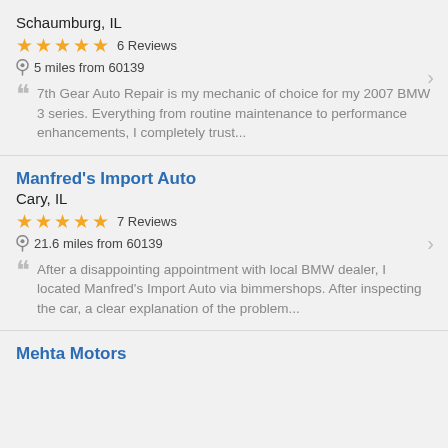Schaumburg, IL
★★★★★ 6 Reviews
5 miles from 60139
7th Gear Auto Repair is my mechanic of choice for my 2007 BMW 3 series. Everything from routine maintenance to performance enhancements, I completely trust...
Manfred's Import Auto
Cary, IL
★★★★★ 7 Reviews
21.6 miles from 60139
After a disappointing appointment with local BMW dealer, I located Manfred's Import Auto via bimmershops. After inspecting the car, a clear explanation of the problem...
Mehta Motors